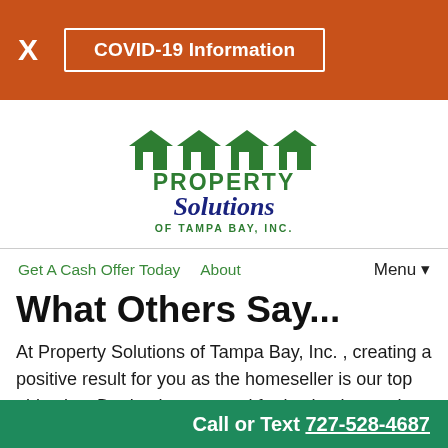X  COVID-19 Information
[Figure (logo): Property Solutions of Tampa Bay, Inc. logo with green house icons above green bold text PROPERTY and blue cursive Solutions and green OF TAMPA BAY, INC.]
Get A Cash Offer Today   About   Menu ▼
What Others Say...
At Property Solutions of Tampa Bay, Inc. , creating a positive result for you as the homeseller is our top objective. Don't take our word for it, check out what some of our previous clients have to say about...
Call or Text 727-528-4687